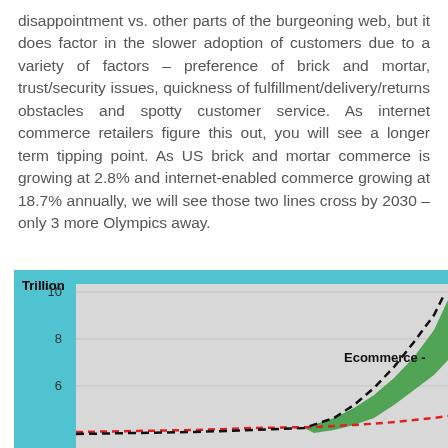disappointment vs. other parts of the burgeoning web, but it does factor in the slower adoption of customers due to a variety of factors – preference of brick and mortar, trust/security issues, quickness of fulfillment/delivery/returns obstacles and spotty customer service. As internet commerce retailers figure this out, you will see a longer term tipping point. As US brick and mortar commerce is growing at 2.8% and internet-enabled commerce growing at 18.7% annually, we will see those two lines cross by 2030 – only 3 more Olympics away.
[Figure (line-chart): Line chart showing Ecommerce growth (dashed black line rising steeply) versus brick and mortar (red dashed line, nearly flat) with green shaded area between them, y-axis shows values 6, 8, 10 (Trillion), partial chart visible.]